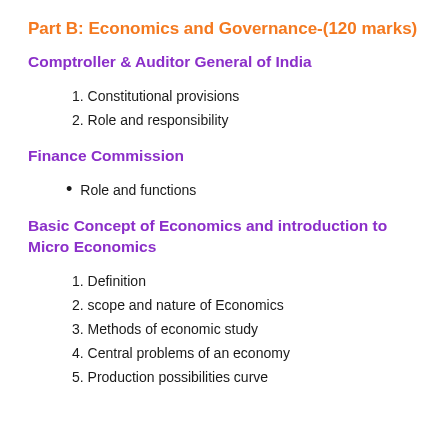Part B: Economics and Governance-(120 marks)
Comptroller & Auditor General of India
1. Constitutional provisions
2. Role and responsibility
Finance Commission
Role and functions
Basic Concept of Economics and introduction to Micro Economics
1. Definition
2. scope and nature of Economics
3. Methods of economic study
4. Central problems of an economy
5. Production possibilities curve